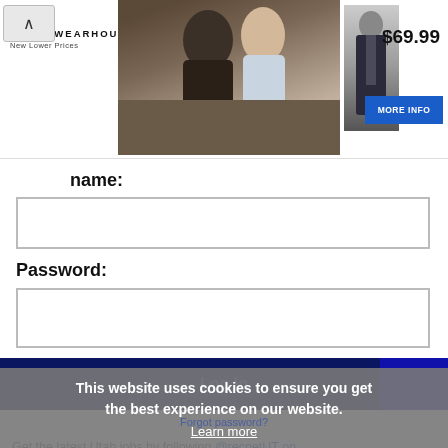[Figure (screenshot): Men's Wearhouse advertisement banner showing a couple in formal wear, a man in a suit thumbnail, price $69.99 and a More Info button]
name:
[Figure (other): Username text input field (empty)]
Password:
[Figure (other): Password text input field (empty)]
Log In
This website uses cookies to ensure you get the best experience on our website.
Learn more
Forgot password?
[Figure (logo): GoLinkedIn logo on yellow background with Facebook and LinkedIn icons]
Get the latest Utah jobs by following @recnetUT on